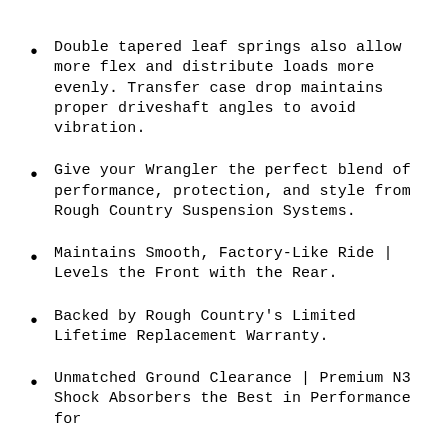Double tapered leaf springs also allow more flex and distribute loads more evenly. Transfer case drop maintains proper driveshaft angles to avoid vibration.
Give your Wrangler the perfect blend of performance, protection, and style from Rough Country Suspension Systems.
Maintains Smooth, Factory-Like Ride | Levels the Front with the Rear.
Backed by Rough Country's Limited Lifetime Replacement Warranty.
Unmatched Ground Clearance | Premium N3 Shock Absorbers the Best in Performance for